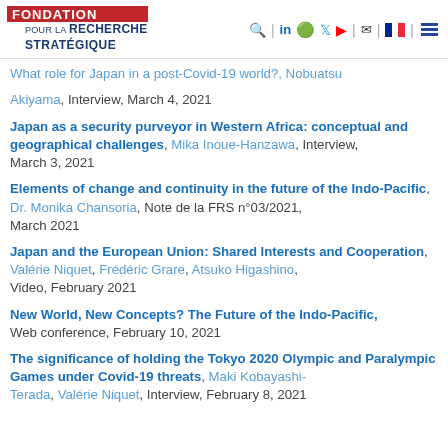Fondation pour la Recherche Stratégique
What role for Japan in a post-Covid-19 world?, Nobuatsu Akiyama, Interview, March 4, 2021
Japan as a security purveyor in Western Africa: conceptual and geographical challenges, Mika Inoue-Hanzawa, Interview, March 3, 2021
Elements of change and continuity in the future of the Indo-Pacific, Dr. Monika Chansoria, Note de la FRS n°03/2021, March 2021
Japan and the European Union: Shared Interests and Cooperation, Valérie Niquet, Frédéric Grare, Atsuko Higashino, Video, February 2021
New World, New Concepts? The Future of the Indo-Pacific, Web conference, February 10, 2021
The significance of holding the Tokyo 2020 Olympic and Paralympic Games under Covid-19 threats, Maki Kobayashi-Terada, Valérie Niquet, Interview, February 8, 2021